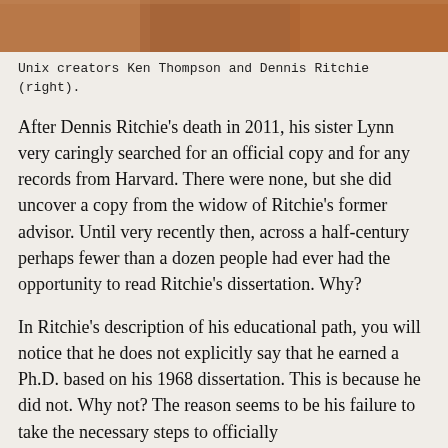[Figure (photo): Photograph of Unix creators Ken Thompson and Dennis Ritchie, cropped at top of page showing partial figures.]
Unix creators Ken Thompson and Dennis Ritchie (right).
After Dennis Ritchie's death in 2011, his sister Lynn very caringly searched for an official copy and for any records from Harvard. There were none, but she did uncover a copy from the widow of Ritchie's former advisor. Until very recently then, across a half-century perhaps fewer than a dozen people had ever had the opportunity to read Ritchie's dissertation. Why?
In Ritchie's description of his educational path, you will notice that he does not explicitly say that he earned a Ph.D. based on his 1968 dissertation. This is because he did not. Why not? The reason seems to be his failure to take the necessary steps to officially